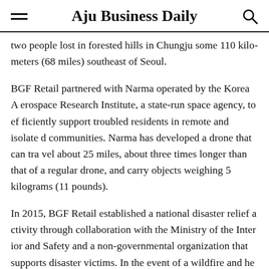Aju Business Daily
two people lost in forested hills in Chungju some 110 kilometers (68 miles) southeast of Seoul.
BGF Retail partnered with Narma operated by the Korea Aerospace Research Institute, a state-run space agency, to efficiently support troubled residents in remote and isolated communities. Narma has developed a drone that can travel about 25 miles, about three times longer than that of a regular drone, and carry objects weighing 5 kilograms (11 pounds).
In 2015, BGF Retail established a national disaster relief activity through collaboration with the Ministry of the Interior and Safety and a non-governmental organization that supports disaster victims. In the event of a wildfire and heavy rain, BGF Retail provides relief supplies through its na